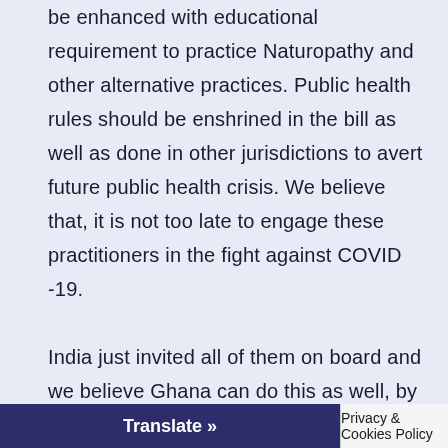be enhanced with educational requirement to practice Naturopathy and other alternative practices. Public health rules should be enshrined in the bill as well as done in other jurisdictions to avert future public health crisis. We believe that, it is not too late to engage these practitioners in the fight against COVID -19.

India just invited all of them on board and we believe Ghana can do this as well, by extending hands to all Naturopathic Medical Students at Nyarkotey College of Holistic Medicine, Medical Herbal Students at Kwame Nkrumah University of Science and
Translate »
Privacy & Cookies Policy